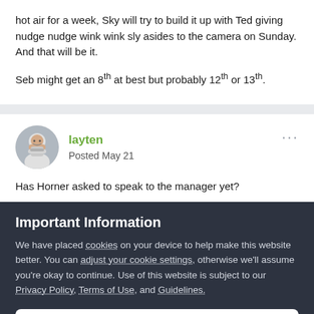hot air for a week, Sky will try to build it up with Ted giving nudge nudge wink wink sly asides to the camera on Sunday. And that will be it.
Seb might get an 8th at best but probably 12th or 13th.
layten
Posted May 21
Has Horner asked to speak to the manager yet?
Important Information
We have placed cookies on your device to help make this website better. You can adjust your cookie settings, otherwise we'll assume you're okay to continue. Use of this website is subject to our Privacy Policy, Terms of Use, and Guidelines.
✓  I accept